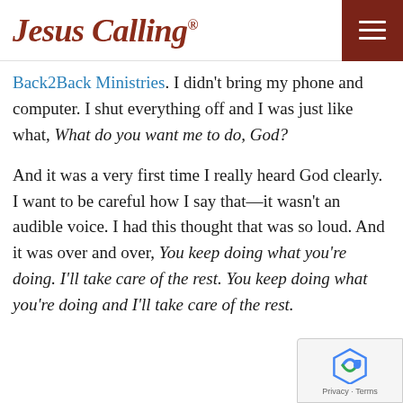Jesus Calling®
Back2Back Ministries. I didn't bring my phone and computer. I shut everything off and I was just like what, What do you want me to do, God?
And it was a very first time I really heard God clearly. I want to be careful how I say that—it wasn't an audible voice. I had this thought that was so loud. And it was over and over, You keep doing what you're doing. I'll take care of the rest. You keep doing what you're doing and I'll take care of the rest.